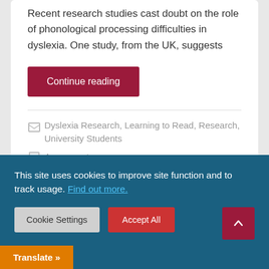Recent research studies cast doubt on the role of phonological processing difficulties in dyslexia. One study, from the UK, suggests
Continue reading
Dyslexia Research, Learning to Read, Research, University Students
4 comments
This site uses cookies to improve site function and to track usage. Find out more.
Cookie Settings
Accept All
Translate »